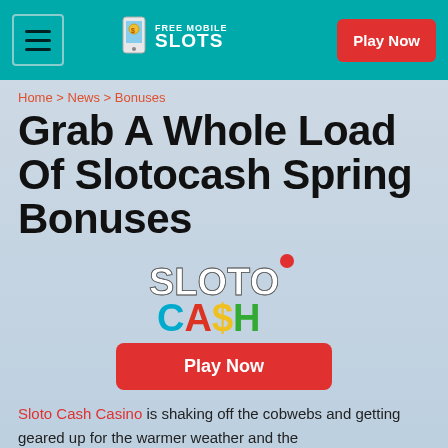Free Mobile Slots — Play Now
Home > News > Bonuses
Grab A Whole Load Of Slotocash Spring Bonuses
[Figure (logo): SlotoCash casino logo with colorful letters]
Play Now
Sloto Cash Casino is shaking off the cobwebs and getting geared up for the warmer weather and the